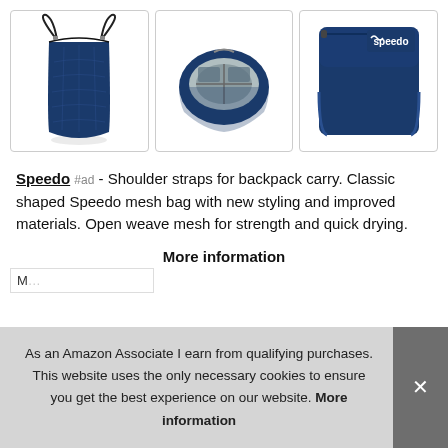[Figure (photo): Three product images of a Speedo navy blue mesh drawstring backpack: left shows front view of bag with straps, center shows open top view of bag interior, right shows flat folded compact view with Speedo logo]
Speedo #ad - Shoulder straps for backpack carry. Classic shaped Speedo mesh bag with new styling and improved materials. Open weave mesh for strength and quick drying.
More information
As an Amazon Associate I earn from qualifying purchases. This website uses the only necessary cookies to ensure you get the best experience on our website. More information